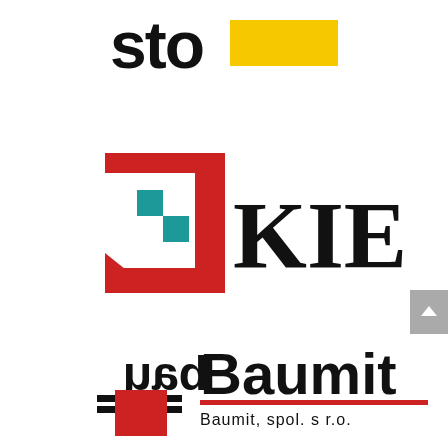[Figure (logo): Sto logo: bold black lowercase 'sto' text followed by a solid yellow rectangle]
[Figure (logo): Kier logo: red square bracket shape with teal staircase pattern inside, followed by bold black serif 'KIER' text]
[Figure (logo): Baumit logo: stylized black mirrored 'bau' letters with red square, followed by bold black 'Baumit' text and red underline with 'Baumit, spol. s r.o.' subtitle]